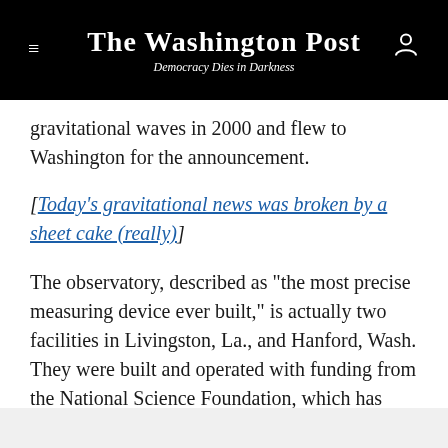The Washington Post
Democracy Dies in Darkness
gravitational waves in 2000 and flew to Washington for the announcement.
[Today's gravitational news was broken by a sheet cake (really)]
The observatory, described as "the most precise measuring device ever built," is actually two facilities in Livingston, La., and Hanford, Wash. They were built and operated with funding from the National Science Foundation, which has spent $1.1 billion on LIGO over the course of several decades.